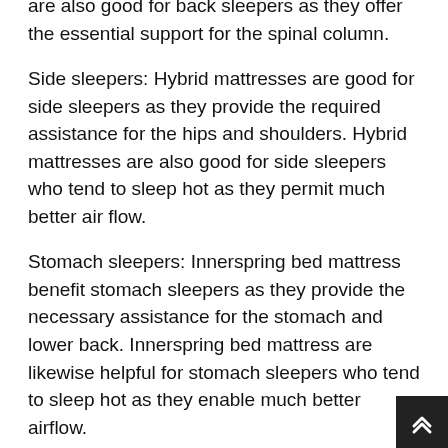are also good for back sleepers as they offer the essential support for the spinal column.
Side sleepers: Hybrid mattresses are good for side sleepers as they provide the required assistance for the hips and shoulders. Hybrid mattresses are also good for side sleepers who tend to sleep hot as they permit much better air flow.
Stomach sleepers: Innerspring bed mattress benefit stomach sleepers as they provide the necessary assistance for the stomach and lower back. Innerspring bed mattress are likewise helpful for stomach sleepers who tend to sleep hot as they enable much better airflow.
Back sleepers: Innerspring bed mattress benefit back sleepers as they provide the required support for the spinal column. Innerspring bed mattress are likewise good for back sleepers who tend to sleep